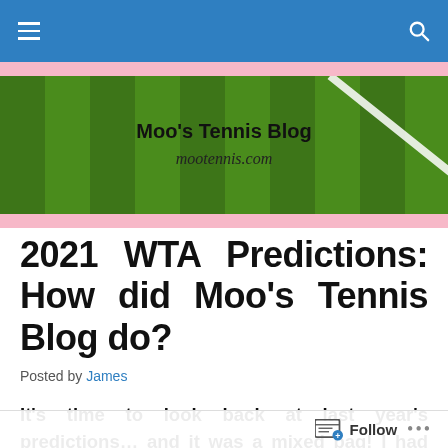Navigation bar with menu and search icons
[Figure (illustration): Moo's Tennis Blog banner image with grass tennis court background, blog title 'Moo's Tennis Blog' and URL 'mootennis.com']
2021 WTA Predictions: How did Moo's Tennis Blog do?
Posted by James
It's time to look back at last year's predictions… and it was a mixed bag! I had four of the world's top 10 in my top 10 and correctly predicted one ranking position. I did better on the Slam champs! Before posting my
Follow